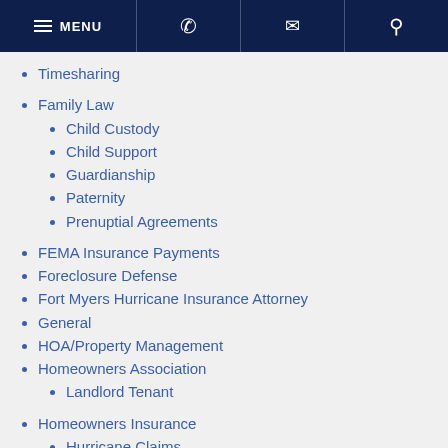MENU [navigation bar with phone, email, search icons]
Timesharing
Family Law
Child Custody
Child Support
Guardianship
Paternity
Prenuptial Agreements
FEMA Insurance Payments
Foreclosure Defense
Fort Myers Hurricane Insurance Attorney
General
HOA/Property Management
Homeowners Association
Landlord Tenant
Homeowners Insurance
Hurricane Claims
Hurricane Insurance
Insurance Bad Faith